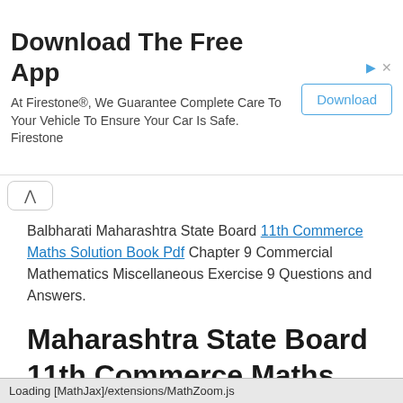[Figure (screenshot): Advertisement banner: 'Download The Free App' with Firestone tagline and a Download button]
Balbharati Maharashtra State Board 11th Commerce Maths Solution Book Pdf Chapter 9 Commercial Mathematics Miscellaneous Exercise 9 Questions and Answers.
Maharashtra State Board 11th Commerce Maths Solutions Chapter 9 Commercial Mathematics Miscellaneous Exercise 9
Loading [MathJax]/extensions/MathZoom.js